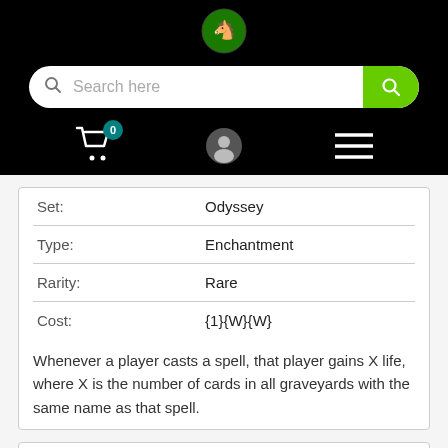Digital Horses store header with search bar, cart (0), user icon, and menu
| Field | Value |
| --- | --- |
| Set: | Odyssey |
| Type: | Enchantment |
| Rarity: | Rare |
| Cost: | {1}{W}{W} |
Whenever a player casts a spell, that player gains X life, where X is the number of cards in all graveyards with the same name as that spell.
Payment & Security